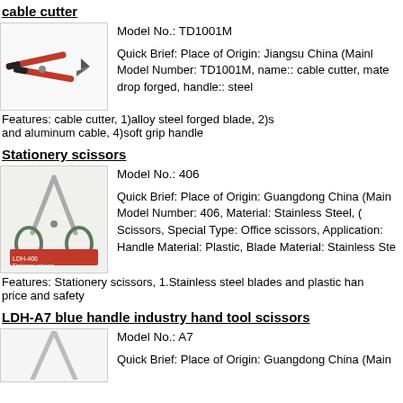cable cutter
[Figure (photo): Red-handled cable cutter tool with black grip ends]
Model No.: TD1001M
Quick Brief: Place of Origin: Jiangsu China (Mainland), Model Number: TD1001M, name:: cable cutter, material:: drop forged, handle:: steel
Features: cable cutter, 1)alloy steel forged blade, 2)s and aluminum cable, 4)soft grip handle
Stationery scissors
[Figure (photo): Stainless steel stationery scissors with green plastic handles, LDH-406 label]
Model No.: 406
Quick Brief: Place of Origin: Guangdong China (Mainland), Model Number: 406, Material: Stainless Steel, Scissors, Special Type: Office scissors, Application: Handle Material: Plastic, Blade Material: Stainless Ste
Features: Stationery scissors, 1.Stainless steel blades and plastic hand price and safety
LDH-A7 blue handle industry hand tool scissors
[Figure (photo): Industry hand tool scissors with blue handle, partially visible]
Model No.: A7
Quick Brief: Place of Origin: Guangdong China (Main